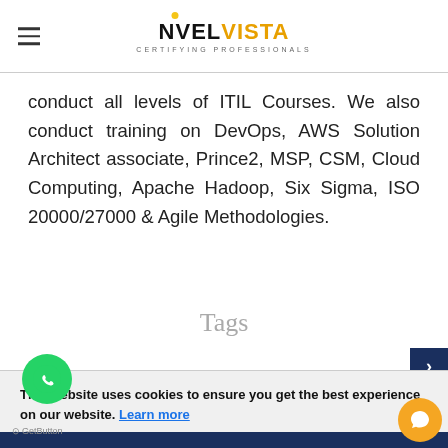NOVELVISTA CERTIFYING PROFESSIONALS
conduct all levels of ITIL Courses. We also conduct training on DevOps, AWS Solution Architect associate, Prince2, MSP, CSM, Cloud Computing, Apache Hadoop, Six Sigma, ISO 20000/27000 & Agile Methodologies.
Tags
This website uses cookies to ensure you get the best experience on our website. Learn more
Got It